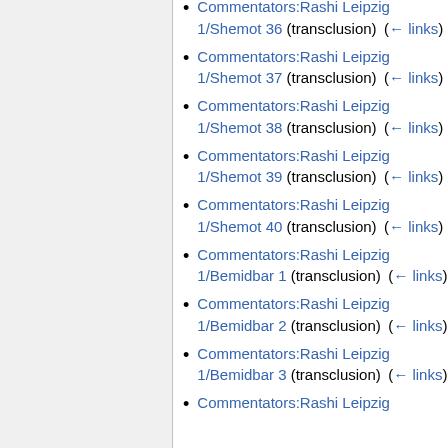Commentators:Rashi Leipzig 1/Shemot 36 (transclusion) (← links)
Commentators:Rashi Leipzig 1/Shemot 37 (transclusion) (← links)
Commentators:Rashi Leipzig 1/Shemot 38 (transclusion) (← links)
Commentators:Rashi Leipzig 1/Shemot 39 (transclusion) (← links)
Commentators:Rashi Leipzig 1/Shemot 40 (transclusion) (← links)
Commentators:Rashi Leipzig 1/Bemidbar 1 (transclusion) (← links)
Commentators:Rashi Leipzig 1/Bemidbar 2 (transclusion) (← links)
Commentators:Rashi Leipzig 1/Bemidbar 3 (transclusion) (← links)
Commentators:Rashi Leipzig